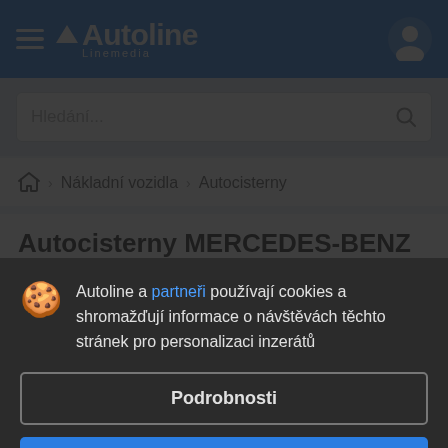Autoline Linemedia
Hledání...
Nákladní vozidla > Autocisterny
Autocisterny MERCEDES-BENZ
Autoline a partneři používají cookies a shromažďují informace o návštěvách těchto stránek pro personalizaci inzerátů
Podrobnosti
Přijmout a zavřít
Autocisterny MERCEDES-BENZ: 165 inzerátů